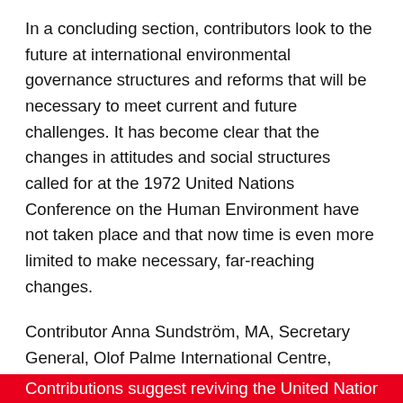In a concluding section, contributors look to the future at international environmental governance structures and reforms that will be necessary to meet current and future challenges. It has become clear that the changes in attitudes and social structures called for at the 1972 United Nations Conference on the Human Environment have not taken place and that now time is even more limited to make necessary, far-reaching changes.
Contributor Anna Sundström, MA, Secretary General, Olof Palme International Centre, Stockholm, comments, “Together, we face humanity’s greatest challenge. Together we must fix it. The need for international action remains even more acute.”
International governance is proposed to deal with the practical challenges of repairing environmental conflict. Contributions suggest reviving the United Nations